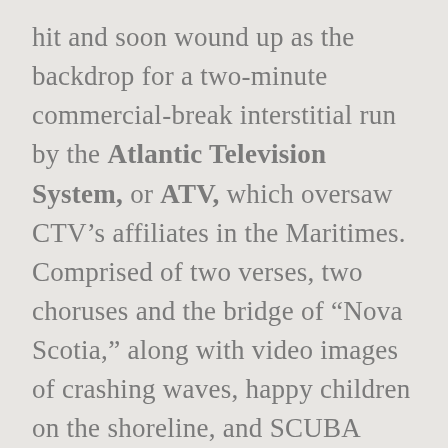hit and soon wound up as the backdrop for a two-minute commercial-break interstitial run by the Atlantic Television System, or ATV, which oversaw CTV's affiliates in the Maritimes. Comprised of two verses, two choruses and the bridge of “Nova Scotia,” along with video images of crashing waves, happy children on the shoreline, and SCUBA divers acquainting themselves with the province’s marine life, what seemed like a straightforward time-filler during reruns of The Flintstones wound up